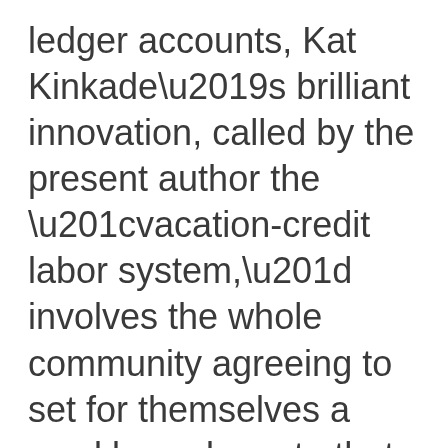ledger accounts, Kat Kinkade’s brilliant innovation, called by the present author the “vacation-credit labor system,” involves the whole community agreeing to set for themselves a weekly work quota that all members agree to meet, with vacation time earned when a member works over-quota. Working “under-quota” requires making up the difference in following weeks. This time-based economy, called at